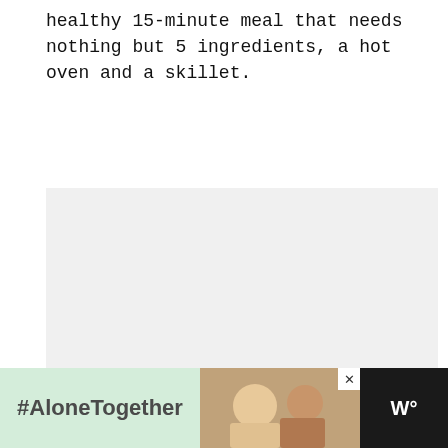healthy 15-minute meal that needs nothing but 5 ingredients, a hot oven and a skillet.
[Figure (photo): A large light gray placeholder image area with three gray loading dots in the center, a heart/like button with count 339, and a purple search button on the right side.]
[Figure (photo): Advertisement banner at the bottom: dark background on left with green panel showing '#AloneTogether' text, center shows a photo of a man and child waving, with a close button, and right side shows a 'W°' logo in white on dark background.]